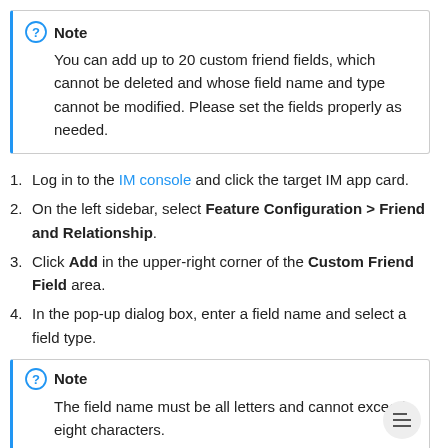Note
You can add up to 20 custom friend fields, which cannot be deleted and whose field name and type cannot be modified. Please set the fields properly as needed.
1. Log in to the IM console and click the target IM app card.
2. On the left sidebar, select Feature Configuration > Friend and Relationship.
3. Click Add in the upper-right corner of the Custom Friend Field area.
4. In the pop-up dialog box, enter a field name and select a field type.
Note
The field name must be all letters and cannot exceed eight characters.